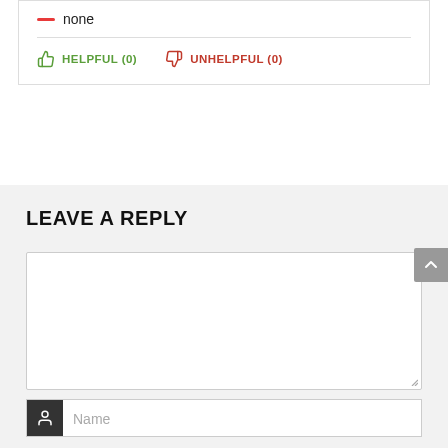— none
HELPFUL (0)   UNHELPFUL (0)
LEAVE A REPLY
[Figure (screenshot): Empty text area input box for leaving a reply comment]
[Figure (screenshot): Name input field with dark user icon on left, placeholder text 'Name']